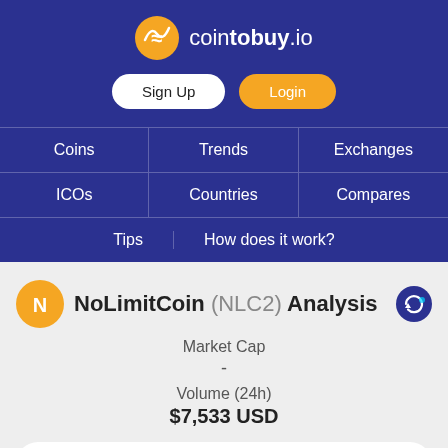cointobuy.io
Sign Up | Login
Coins | Trends | Exchanges | ICOs | Countries | Compares | Tips | How does it work?
NoLimitCoin (NLC2) Analysis
Market Cap
-
Volume (24h)
$7,533 USD
Search Coins